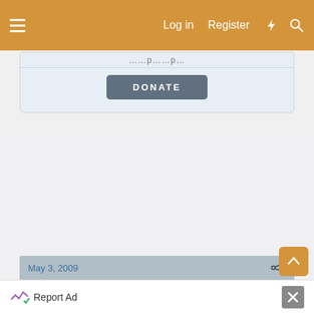Log in  Register
[Figure (screenshot): Partial text line showing website content, clipped at top]
[Figure (screenshot): DONATE button in a light blue donation box]
[Figure (screenshot): Large empty gray advertisement space]
Report Ad
May 3, 2009
Report Ad